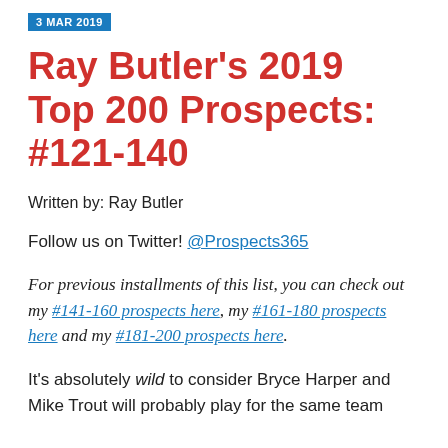3 MAR 2019
Ray Butler's 2019 Top 200 Prospects: #121-140
Written by: Ray Butler
Follow us on Twitter! @Prospects365
For previous installments of this list, you can check out my #141-160 prospects here, my #161-180 prospects here and my #181-200 prospects here.
It's absolutely wild to consider Bryce Harper and Mike Trout will probably play for the same team